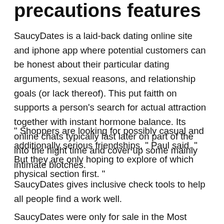precautions features
SaucyDates is a laid-back dating online site and iphone app where potential customers can be honest about their particular dating arguments, sexual reasons, and relationship goals (or lack thereof). This put faitth on supports a person’s search for actual attraction together with instant hormone balance. Its online chats typically last later on part of the into the night time and cover up some mainly intimate blotches.
“ Shoppers are looking for possibly casual and additionally serious friendships, ” Paul said. “ But they are only hoping to explore of which physical section first. ”
SaucyDates gives inclusive check tools to help all people find a work well.
SaucyDates were only for sale in the Most people. K., but it